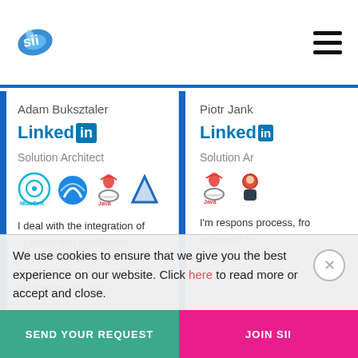[Figure (logo): SII company logo - blue oval shape with stylized letters]
[Figure (illustration): Hamburger menu icon - three horizontal black lines]
Adam Buksztaler
[Figure (logo): LinkedIn logo with blue 'Linked' text and 'in' badge]
Solution Architect
[Figure (illustration): Technology icons: MuleSoft, a blue circle logo, Java, and Azure triangle logo]
I deal with the integration of systems and applications. Together with my team, I advise clients on the choice of technology, design
Piotr Jank
[Figure (logo): LinkedIn logo partially visible]
Solution Ar
[Figure (illustration): Java logo and a person illustration icon]
I'm respons process, fro workload a
We use cookies to ensure that we give you the best experience on our website. Click here to read more or accept and close.
SEND YOUR REQUEST
JOIN SII